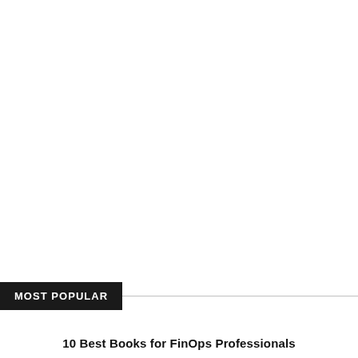MOST POPULAR
10 Best Books for FinOps Professionals